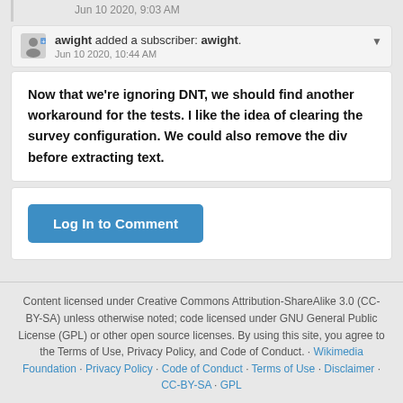Jun 10 2020, 9:03 AM
awight added a subscriber: awight.
Jun 10 2020, 10:44 AM
Now that we're ignoring DNT, we should find another workaround for the tests. I like the idea of clearing the survey configuration. We could also remove the div before extracting text.
Log In to Comment
Content licensed under Creative Commons Attribution-ShareAlike 3.0 (CC-BY-SA) unless otherwise noted; code licensed under GNU General Public License (GPL) or other open source licenses. By using this site, you agree to the Terms of Use, Privacy Policy, and Code of Conduct. · Wikimedia Foundation · Privacy Policy · Code of Conduct · Terms of Use · Disclaimer · CC-BY-SA · GPL